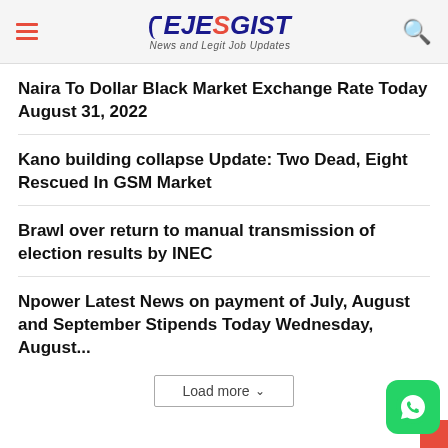EJESGIST - News and Legit Job Updates
Naira To Dollar Black Market Exchange Rate Today August 31, 2022
Kano building collapse Update: Two Dead, Eight Rescued In GSM Market
Brawl over return to manual transmission of election results by INEC
Npower Latest News on payment of July, August and September Stipends Today Wednesday, August...
Load more